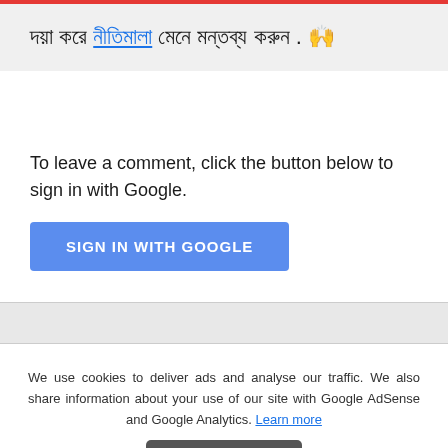দয়া করে নীতিমালা মেনে মন্তব্য করুন . 🙌
To leave a comment, click the button below to sign in with Google.
SIGN IN WITH GOOGLE
We use cookies to deliver ads and analyse our traffic. We also share information about your use of our site with Google AdSense and Google Analytics. Learn more
GOT IT